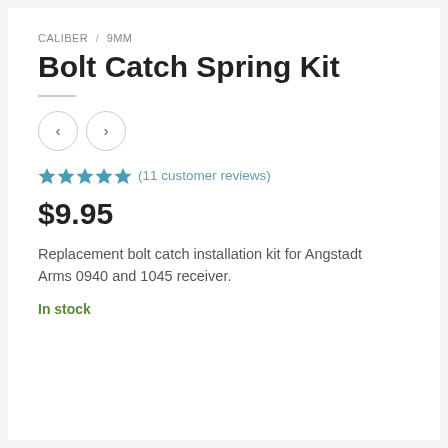CALIBER / 9MM
Bolt Catch Spring Kit
(11 customer reviews)
$9.95
Replacement bolt catch installation kit for Angstadt Arms 0940 and 1045 receiver.
In stock